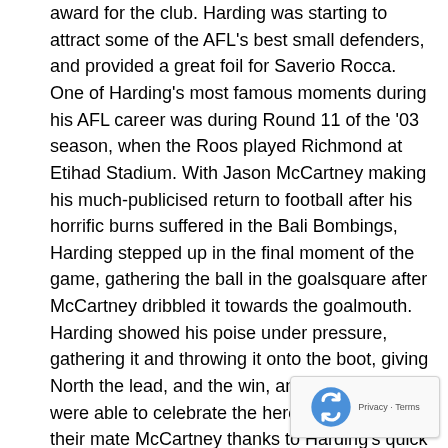award for the club. Harding was starting to attract some of the AFL's best small defenders, and provided a great foil for Saverio Rocca.
One of Harding's most famous moments during his AFL career was during Round 11 of the '03 season, when the Roos played Richmond at Etihad Stadium. With Jason McCartney making his much-publicised return to football after his horrific burns suffered in the Bali Bombings, Harding stepped up in the final moment of the game, gathering the ball in the goalsquare after McCartney dribbled it towards the goalmouth. Harding showed his poise under pressure, gathering it and throwing it onto the boot, giving North the lead, and the win, and the Kangaroos were able to celebrate the heroic victory for their mate McCartney thanks to Harding's quick thinking in the heat of the moment.
Turtle went backwards in the 2004 season, playing just 12 games and kicking 16.13, while his defensive pressure had almost disappeared in his game, laying just six tackles in those dozen games, and he was keen to atone in the new year. Harding was given more of a role in the midfield, as well as up forward, and it resulted in an increase in his possession rate, while still maintaining success in front of the big sticks, but the year was unfortunately remembered by his consecutive blunders in the Round 15 match against West Coast. With the Eagles making their claim as the best team in the league, the Roos put up a good fight at Etihad Stadium, the chance to take the lead in the dying moments, with Harding gathering the ball just outside the goalsquare and about to shoot for an open goal. He gained the required the shot found himself in the next successive title
[Figure (other): reCAPTCHA widget overlay in bottom-right corner showing a recycling-arrows logo and 'Privacy - Terms' text]